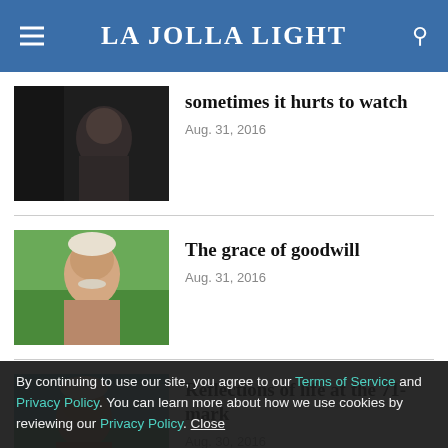La Jolla Light
[Figure (photo): Dark photo of elderly person, partially visible]
sometimes it hurts to watch
Aug. 31, 2016
[Figure (photo): Older man with white mustache outdoors with green background]
The grace of goodwill
Aug. 31, 2016
[Figure (photo): Older man with white hair near a lake with green background]
Reflections of life at the 71-mark
Aug. 30, 2016
By continuing to use our site, you agree to our Terms of Service and Privacy Policy. You can learn more about how we use cookies by reviewing our Privacy Policy. Close